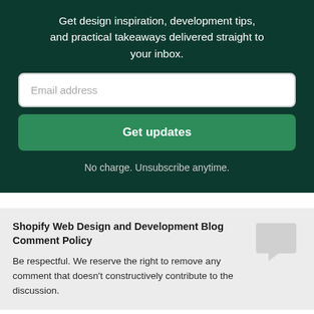Get design inspiration, development tips, and practical takeaways delivered straight to your inbox.
[Figure (screenshot): Email address input field with placeholder text 'Email address']
[Figure (screenshot): Green button labeled 'Get updates']
No charge. Unsubscribe anytime.
Shopify Web Design and Development Blog Comment Policy
Be respectful. We reserve the right to remove any comment that doesn't constructively contribute to the discussion.